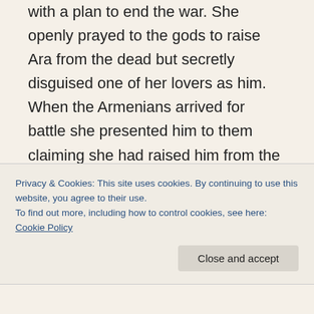with a plan to end the war. She openly prayed to the gods to raise Ara from the dead but secretly disguised one of her lovers as him. When the Armenians arrived for battle she presented him to them claiming she had raised him from the dead by her love for him.   The deception convinced the Armenians he was alive and ended the fighting.  There is also a tradition that she actually succeeded in resurrecting Ara and there is a village not far from Van called Lezk where his resurrection
Privacy & Cookies: This site uses cookies. By continuing to use this website, you agree to their use.
To find out more, including how to control cookies, see here: Cookie Policy